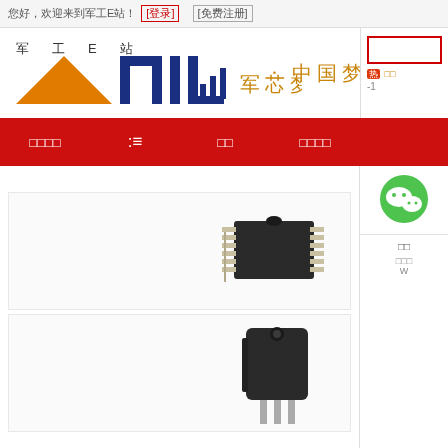您好，欢迎来到军工E站！ [登录] [免费注册]
[Figure (logo): 军工E站 MIL logo with Chinese text 军芯梦·中国梦]
热 -1
军品库 ≡ 品牌 军购 军工服务
[Figure (photo): WeChat QR/icon green smiley logo]
[Figure (photo): Black DIP IC chip component photo]
型号
[Figure (photo): Black TO-3P power transistor component photo]